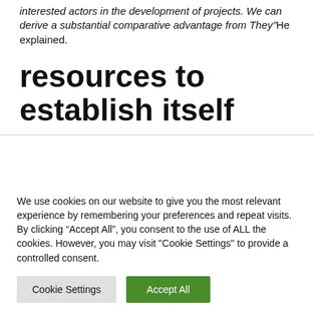interested actors in the development of projects. We can derive a substantial comparative advantage from They”He explained.
resources to establish itself
We use cookies on our website to give you the most relevant experience by remembering your preferences and repeat visits. By clicking “Accept All”, you consent to the use of ALL the cookies. However, you may visit "Cookie Settings" to provide a controlled consent.